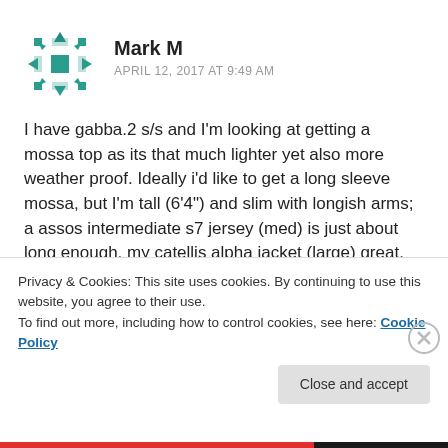[Figure (logo): Circular geometric avatar icon with teal/dark-cyan triangles and squares arranged in a snowflake-like pattern]
Mark M
APRIL 12, 2017 AT 9:49 AM
I have gabba.2 s/s and I'm looking at getting a mossa top as its that much lighter yet also more weather proof. Ideally i'd like to get a long sleeve mossa, but I'm tall (6'4") and slim with longish arms; a assos intermediate s7 jersey (med) is just about long enough, my catellis alpha jacket (large) great. I'm judging I'd be a medium in a mossa, but do you reckon the l/s jersey would fit, or would be better sticking to s/s mossa jersey. K dry
Privacy & Cookies: This site uses cookies. By continuing to use this website, you agree to their use.
To find out more, including how to control cookies, see here: Cookie Policy